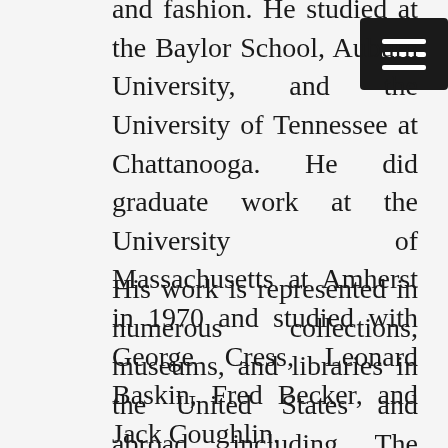and fashion. He studied at the Baylor School, Auburn University, and the University of Tennessee at Chattanooga. He did graduate work at the University of Massachusetts at Amherst in 1970 and studied with George Cress, Leonard Baskin, Fred Becker, and Jack Coughlin.
His work is represented in numerous collections, museums, and libraries in the United States and abroad, including The Metropolitan Museum, The British Museum, The Library of Congress, The Pierpont Morgan Library, The Vatican Library,